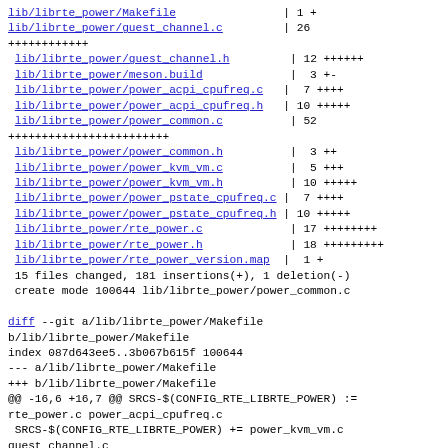lib/librte_power/Makefile                | 1 +
lib/librte_power/guest_channel.c         | 26
++++++++++++
 lib/librte_power/guest_channel.h          | 12 ++++++
 lib/librte_power/meson.build             |  3 +-
 lib/librte_power/power_acpi_cpufreq.c   |  7 ++++
 lib/librte_power/power_acpi_cpufreq.h   | 10 +++++
 lib/librte_power/power_common.c         | 52
++++++++++++++++++++++++
 lib/librte_power/power_common.h          |  3 ++
 lib/librte_power/power_kvm_vm.c         |  5 +++
 lib/librte_power/power_kvm_vm.h         | 10 +++++
 lib/librte_power/power_pstate_cpufreq.c |  7 ++++
 lib/librte_power/power_pstate_cpufreq.h | 10 +++++
 lib/librte_power/rte_power.c            | 17 ++++++++
 lib/librte_power/rte_power.h            | 18 +++++++++
 lib/librte_power/rte_power_version.map  |  1 +
 15 files changed, 181 insertions(+), 1 deletion(-)
 create mode 100644 lib/librte_power/power_common.c
diff --git a/lib/librte_power/Makefile
b/lib/librte_power/Makefile
index 087d643ee5..3b067b615f 100644
--- a/lib/librte_power/Makefile
+++ b/lib/librte_power/Makefile
@@ -16,6 +16,7 @@ SRCS-$(CONFIG_RTE_LIBRTE_POWER) :=
rte_power.c power_acpi_cpufreq.c
 SRCS-$(CONFIG_RTE_LIBRTE_POWER) += power_kvm_vm.c
guest_channel.c
 SRCS-$(CONFIG_RTE_LIBRTE_POWER) +=